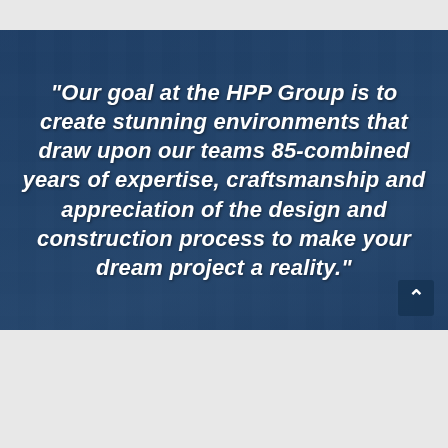[Figure (photo): Dark blue-tinted photo of a modern glass office building exterior used as background behind a white bold italic quote.]
“Our goal at the HPP Group is to create stunning environments that draw upon our teams 85-combined years of expertise, craftsmanship and appreciation of the design and construction process to make your dream project a reality.”